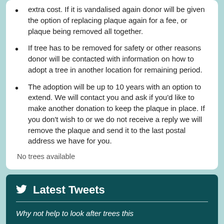extra cost. If it is vandalised again donor will be given the option of replacing plaque again for a fee, or plaque being removed all together.
If tree has to be removed for safety or other reasons donor will be contacted with information on how to adopt a tree in another location for remaining period.
The adoption will be up to 10 years with an option to extend. We will contact you and ask if you'd like to make another donation to keep the plaque in place. If you don't wish to or we do not receive a reply we will remove the plaque and send it to the last postal address we have for you.
No trees available
Latest Tweets
Why not help to look after trees this